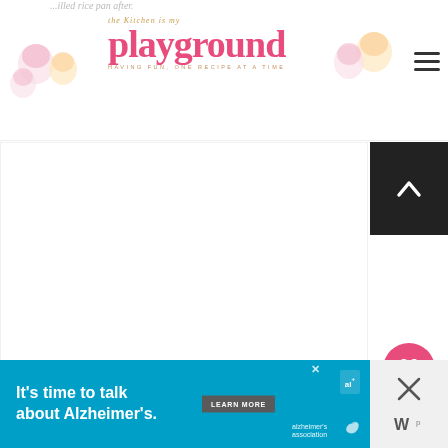the Kitchen is my playground — HAVING FUN, ONE RECIPE AT A TIME
[Figure (screenshot): Blog content image area (white/blank food photo area)]
[Figure (illustration): Scroll-to-top button (dark background with up chevron)]
[Figure (illustration): Heart/favorite button (pink circle with heart icon)]
[Figure (illustration): Share button (white circle with share icon)]
WHAT'S NEXT → Cheesy Taquito Rice...
[Figure (screenshot): Alzheimer's Association advertisement banner: It's time to talk about Alzheimer's. LEARN MORE]
[Figure (logo): Alzheimer's Association logo (al+ and swirl mark)]